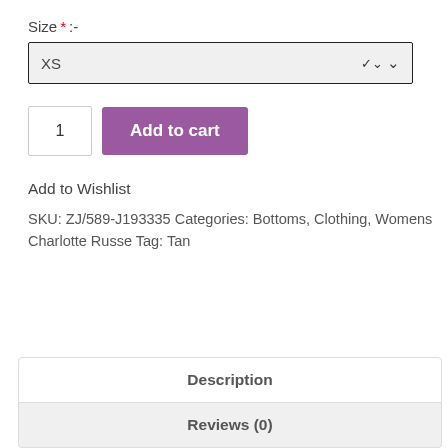Size * :-
XS
1
Add to cart
Add to Wishlist
SKU: ZJ/589-J193335 Categories: Bottoms, Clothing, Womens Charlotte Russe Tag: Tan
Description
Reviews (0)